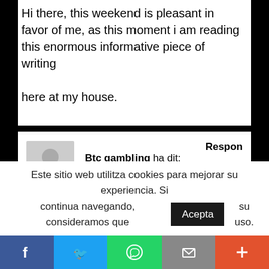Hi there, this weekend is pleasant in favor of me, as this moment i am reading this enormous informative piece of writing

here at my house.
Btc gambling ha dit:
28 abril, 2022 a les 3:07 am
Respon

May I simply just say what a comfort to uncover someone who actually knows what they're
Este sitio web utilitza cookies para mejorar su experiencia. Si continua navegando, consideramos que su uso.